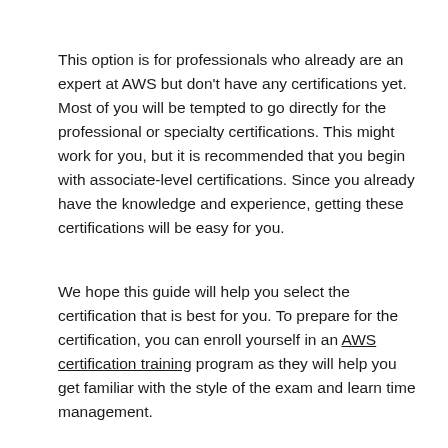This option is for professionals who already are an expert at AWS but don't have any certifications yet. Most of you will be tempted to go directly for the professional or specialty certifications. This might work for you, but it is recommended that you begin with associate-level certifications. Since you already have the knowledge and experience, getting these certifications will be easy for you.
We hope this guide will help you select the certification that is best for you. To prepare for the certification, you can enroll yourself in an AWS certification training program as they will help you get familiar with the style of the exam and learn time management.